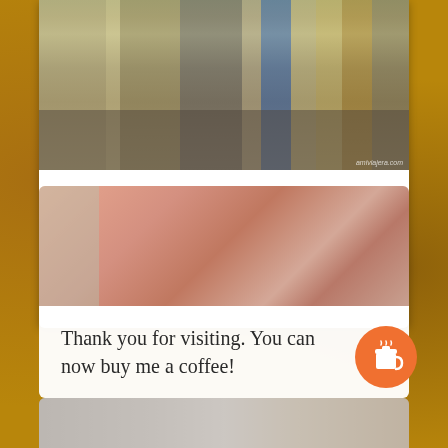[Figure (photo): Street scene of Antigua Guatemala with colorful colonial buildings, a red car, and two people walking a dog on a cobblestone street]
Almost a Ghost Town
I could have never imagined desolate streets during the most important week of the year: the Holy Week of Antigua Guatemala, how …
[Figure (photo): Pink building facade street scene, partially visible]
Thank you for visiting. You can now buy me a coffee!
[Figure (photo): Partial view of a third street scene photo at bottom of page]